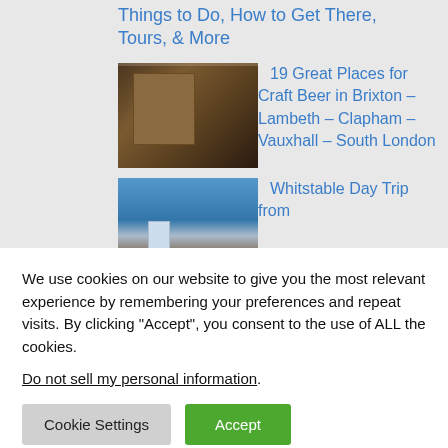Things to Do, How to Get There, Tours, & More
[Figure (photo): Interior of a craft beer bar or brewery with wooden shelving and warm lighting]
19 Great Places for Craft Beer in Brixton – Lambeth – Clapham – Vauxhall – South London
[Figure (photo): Whitstable harbour with boats and blue sky]
Whitstable Day Trip from
We use cookies on our website to give you the most relevant experience by remembering your preferences and repeat visits. By clicking “Accept”, you consent to the use of ALL the cookies.
Do not sell my personal information.
Cookie Settings
Accept